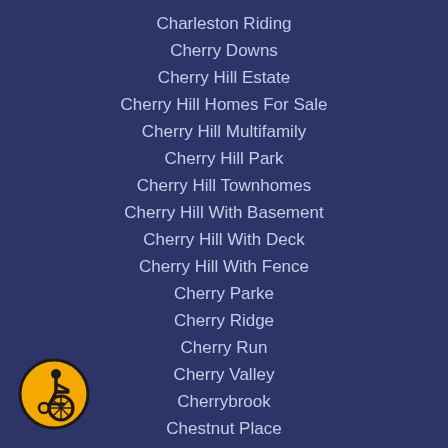Charleston Riding
Cherry Downs
Cherry Hill Estate
Cherry Hill Homes For Sale
Cherry Hill Multifamily
Cherry Hill Park
Cherry Hill Townhomes
Cherry Hill With Basement
Cherry Hill With Deck
Cherry Hill With Fence
Cherry Parke
Cherry Ridge
Cherry Run
Cherry Valley
Cherrybrook
Chestnut Place
Cinderella
[Figure (illustration): Accessibility icon: yellow circle with black border containing a wheelchair user symbol in black]